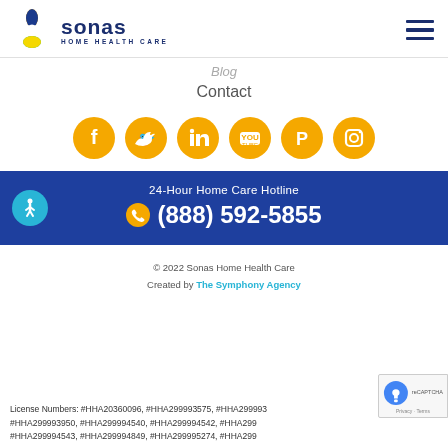[Figure (logo): Sonas Home Health Care logo with colorful flower icon and dark blue text]
[Figure (other): Hamburger menu icon (three horizontal lines)]
Blog
Contact
[Figure (other): Social media icons row: Facebook, Twitter, LinkedIn, YouTube, Pinterest, Instagram — all gold/yellow circular buttons]
24-Hour Home Care Hotline
(888) 592-5855
© 2022 Sonas Home Health Care
Created by The Symphony Agency
License Numbers: #HHA20360096, #HHA299993575, #HHA299993 #HHA299993950, #HHA299994540, #HHA299994542, #HHA299 #HHA299994543, #HHA299994849, #HHA299995274, #HHA299